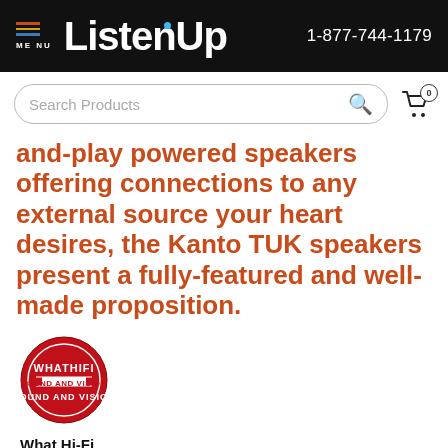ListenUp  1-877-744-1179
and-play powered speakers offering connections to any external source your heart desires, the Kanto TUK speakers present a fully-featured and well-made proposition.
[Figure (logo): What Hi-Fi Sound and Vision circular badge logo in red and white]
What Hi-Fi
REVIEW